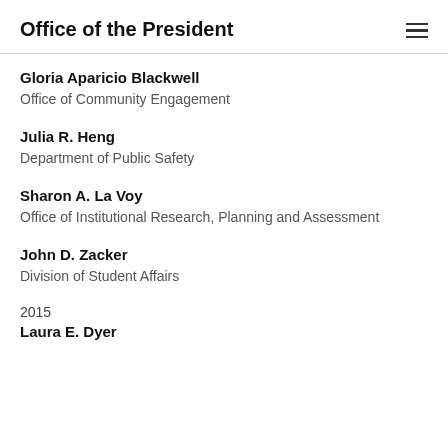Office of the President
Gloria Aparicio Blackwell
Office of Community Engagement
Julia R. Heng
Department of Public Safety
Sharon A. La Voy
Office of Institutional Research, Planning and Assessment
John D. Zacker
Division of Student Affairs
2015
Laura E. Dyer